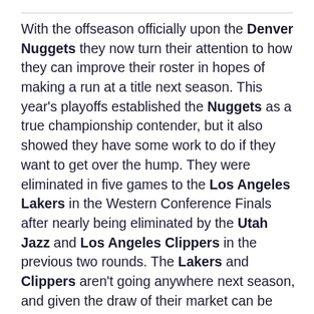With the offseason officially upon the Denver Nuggets they now turn their attention to how they can improve their roster in hopes of making a run at a title next season. This year's playoffs established the Nuggets as a true championship contender, but it also showed they have some work to do if they want to get over the hump. They were eliminated in five games to the Los Angeles Lakers in the Western Conference Finals after nearly being eliminated by the Utah Jazz and Los Angeles Clippers in the previous two rounds. The Lakers and Clippers aren't going anywhere next season, and given the draw of their market can be expect to have many options for improving their own rosters. Meanwhile, a healthy Golden State Warriors team still boasts a trio (Stephen Curry, Klay Thompson and Draymond Green) that won a title one year and